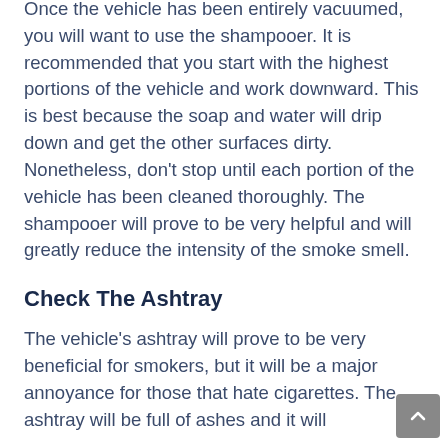Once the vehicle has been entirely vacuumed, you will want to use the shampooer. It is recommended that you start with the highest portions of the vehicle and work downward. This is best because the soap and water will drip down and get the other surfaces dirty. Nonetheless, don't stop until each portion of the vehicle has been cleaned thoroughly. The shampooer will prove to be very helpful and will greatly reduce the intensity of the smoke smell.
Check The Ashtray
The vehicle's ashtray will prove to be very beneficial for smokers, but it will be a major annoyance for those that hate cigarettes. The ashtray will be full of ashes and it will